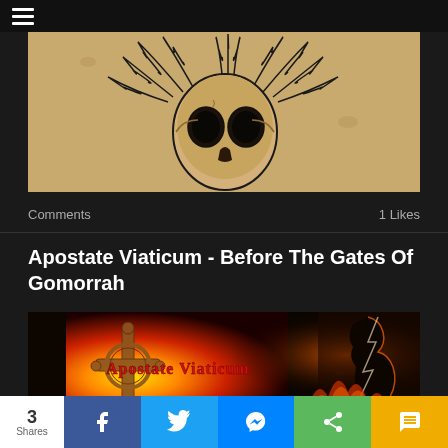[Figure (illustration): Black ink skull drawing on aged tan/brown paper background, skull with wild radiating hair or flames]
Comments   1 Likes
Apostate Viaticum - Before The Gates Of Gomorrah
[Figure (photo): Album art for Apostate Viaticum - Before The Gates Of Gomorrah, showing a cross/ornate symbol with fire and a silhouette, text reads 'Apostate Viaticum' in gothic lettering]
3 Shares